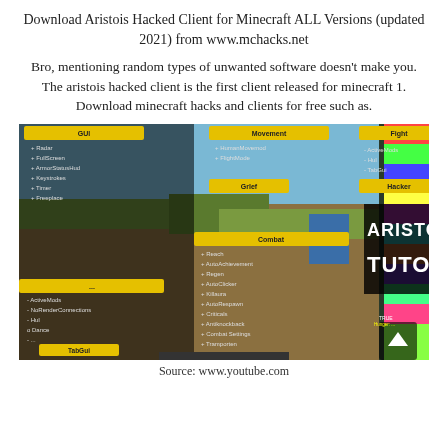Download Aristois Hacked Client for Minecraft ALL Versions (updated 2021) from www.mchacks.net
Bro, mentioning random types of unwanted software doesn't make you. The aristois hacked client is the first client released for minecraft 1. Download minecraft hacks and clients for free such as.
[Figure (screenshot): Screenshot of Minecraft gameplay with Aristois hacked client menus visible. Yellow GUI panels on left side listing hacks/mods. Text overlay reads 'ARISTOIS HACKED CLIENT TUTORIAL' in bold white with black outline.]
Source: www.youtube.com